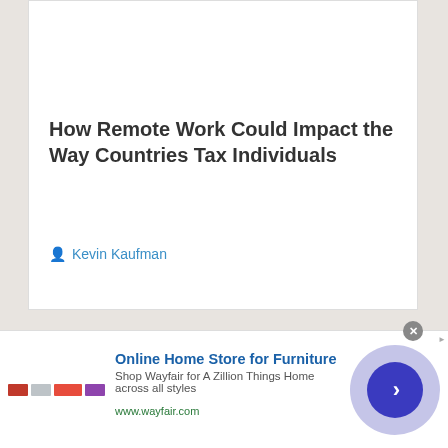How Remote Work Could Impact the Way Countries Tax Individuals
Kevin Kaufman
[Figure (screenshot): Second article card, blank/image area]
[Figure (screenshot): Advertisement banner: Online Home Store for Furniture - Shop Wayfair for A Zillion Things Home across all styles - www.wayfair.com]